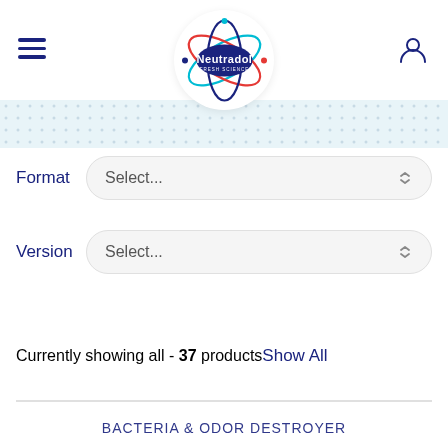[Figure (logo): Neutradol Fresh Science logo — dark blue oval with white 'Neutradol' text and 'FRESH SCIENCE' subtitle, surrounded by atomic orbit rings in red, cyan, and dark blue]
Format
Select...
Version
Select...
Currently showing all - 37 products    Show All